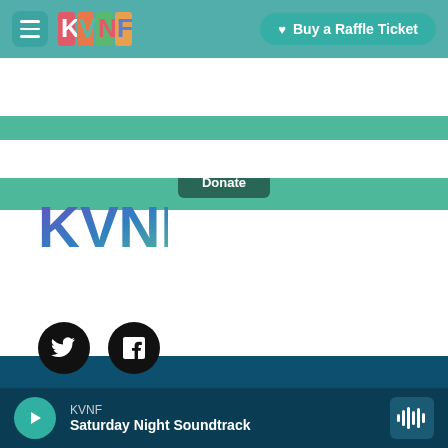[Figure (screenshot): KVNF website navigation bar with hamburger menu, KVNF colorful logo, and teal Buy a Raffle Ticket button]
[Figure (screenshot): Teal/green banner area with a dark donate button]
[Figure (screenshot): KVNF footer section on dark blue background with KVNF logo, Stay Connected heading, Twitter and Facebook social icons, copyright notice, About KVNF link, and bottom audio player bar showing Saturday Night Soundtrack]
Stay Connected
© 2022 KVNF Public Radio
About KVNF
KVNF Saturday Night Soundtrack